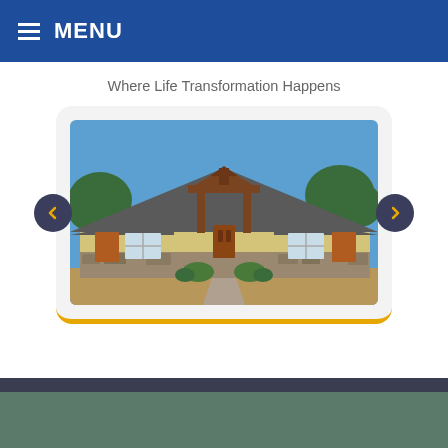MENU
Where Life Transformation Happens
[Figure (photo): Exterior photo of a single-story building with a craftsman-style covered entrance, stone accents, wood door and siding details, under a clear blue sky with trees in background.]